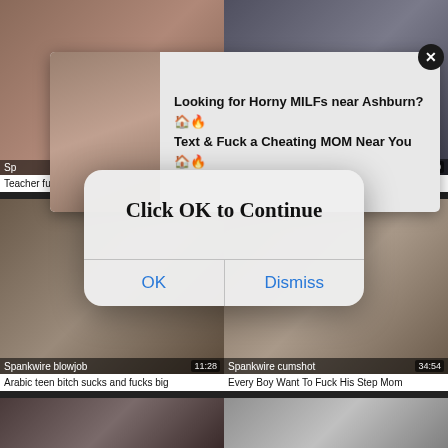[Figure (screenshot): Screenshot of adult video website with multiple video thumbnails, an advertising popup, and an OS-style dialog box saying 'Click OK to Continue' with OK and Dismiss buttons.]
Looking for Horny MILFs near Ashburn? 🏠🔥 Text & Fuck a Cheating MOM Near You 🏠🔥
Click OK to Continue
OK
Dismiss
Teacher fucks students 4 teacher/sensei
Lets weigh young perfect 18 years old
Arabic teen bitch sucks and fucks big
Every Boy Want To Fuck His Step Mom
Spankwire blowjob 11:28
Spankwire cumshot 34:54